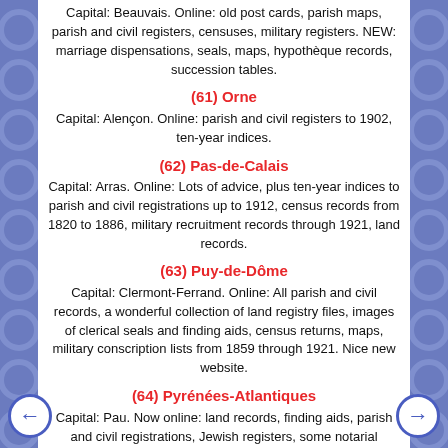Capital: Beauvais. Online: old post cards, parish maps, parish and civil registers, censuses, military registers. NEW: marriage dispensations, seals, maps, hypothèque records, succession tables.
(61) Orne
Capital: Alençon. Online: parish and civil registers to 1902, ten-year indices.
(62) Pas-de-Calais
Capital: Arras. Online: Lots of advice, plus ten-year indices to parish and civil registrations up to 1912, census records from 1820 to 1886, military recruitment records through 1921, land records.
(63) Puy-de-Dôme
Capital: Clermont-Ferrand. Online: All parish and civil records, a wonderful collection of land registry files, images of clerical seals and finding aids, census returns, maps, military conscription lists from 1859 through 1921. Nice new website.
(64) Pyrénées-Atlantiques
Capital: Pau. Now online: land records, finding aids, parish and civil registrations, Jewish registers, some notarial records, military recruitment lists from 1878 to 1921.
(65) Haute-Pyrénées
Capital: Tarbes. Online: Cahiers de doléances, census returns,